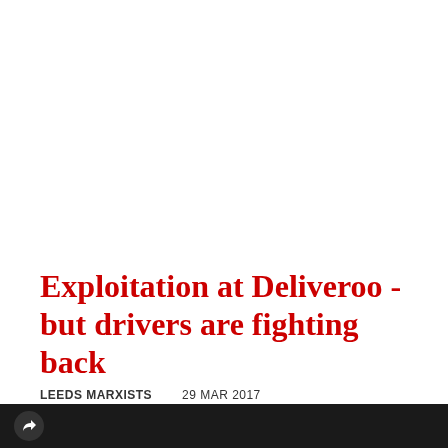Exploitation at Deliveroo - but drivers are fighting back
LEEDS MARXISTS   29 MAR 2017